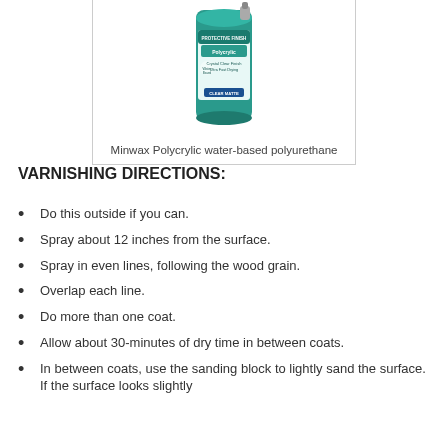[Figure (photo): A teal/green spray can of Minwax Polycrylic water-based polyurethane protective finish, labeled Crystal Clear Finish, Ultra Fast Drying, Clear Matte]
Minwax Polycrylic water-based polyurethane
VARNISHING DIRECTIONS:
Do this outside if you can.
Spray about 12 inches from the surface.
Spray in even lines, following the wood grain.
Overlap each line.
Do more than one coat.
Allow about 30-minutes of dry time in between coats.
In between coats, use the sanding block to lightly sand the surface.  If the surface looks slightly